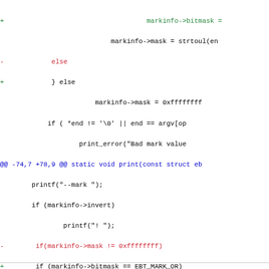[Figure (screenshot): A code diff showing changes to a C source file with added/removed lines highlighted in green/red, and hunk headers in blue. The diff shows modifications related to markinfo bitmask and mask handling functions.]